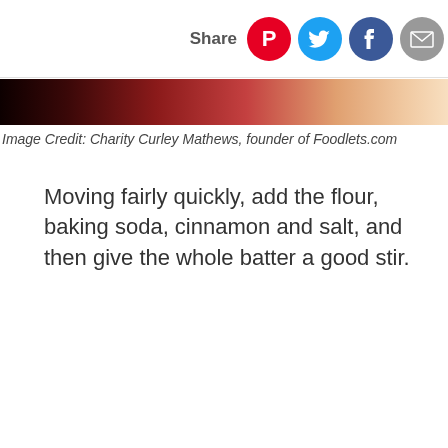Share
[Figure (photo): Partial photo of food dish with red and beige tones, cropped at top]
Image Credit: Charity Curley Mathews, founder of Foodlets.com
Moving fairly quickly, add the flour, baking soda, cinnamon and salt, and then give the whole batter a good stir.
Advertisement